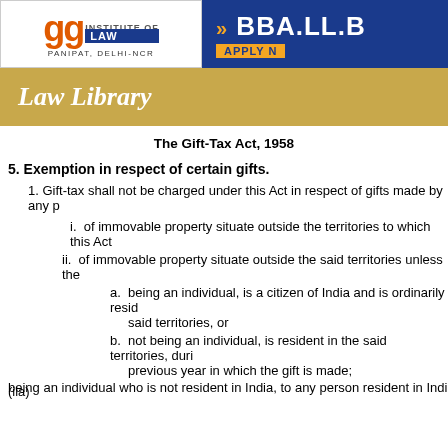[Figure (logo): GG Institute of Law logo with LAW badge and PANIPAT, DELHI-NCR text, alongside BBA.LL.B APPLY NOW banner on blue background]
[Figure (illustration): Gold bar with 'Law Library' italic white text]
The Gift-Tax Act, 1958
5. Exemption in respect of certain gifts.
1. Gift-tax shall not be charged under this Act in respect of gifts made by any p
i. of immovable property situate outside the territories to which this Act
ii. of immovable property situate outside the said territories unless the
a. being an individual, is a citizen of India and is ordinarily resid... said territories, or
b. not being an individual, is resident in the said territories, duri... previous year in which the gift is made;
(iia)
being an individual who is not resident in India, to any person resident in India